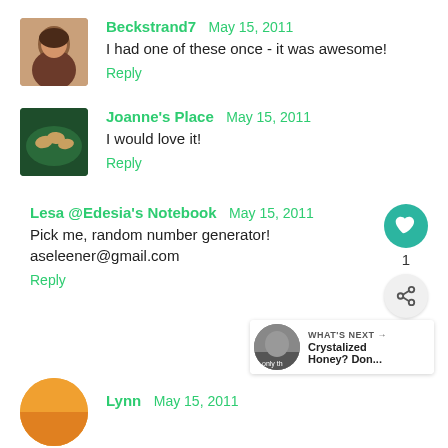[Figure (photo): Avatar photo of Beckstrand7, a person with dark hair]
Beckstrand7 May 15, 2011
I had one of these once - it was awesome!
Reply
[Figure (photo): Avatar photo for Joanne's Place, showing hands with pretzels on dark background]
Joanne's Place May 15, 2011
I would love it!
Reply
Lesa @Edesia's Notebook May 15, 2011
Pick me, random number generator!
aseleener@gmail.com
Reply
[Figure (other): Heart like button circle (teal), count 1, share button circle]
[Figure (screenshot): What's Next widget: Crystalized Honey? Don... with thumbnail]
[Figure (photo): Avatar for Lynn, partial orange circle]
Lynn May 15, 2011